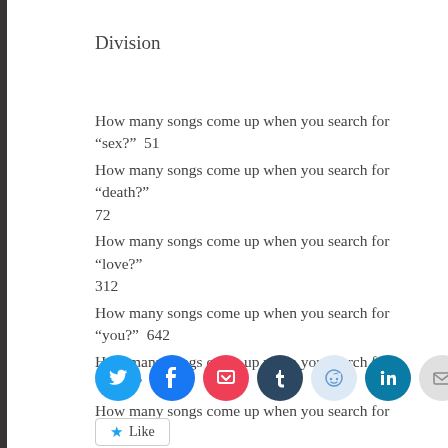Division
How many songs come up when you search for “sex?”  51
How many songs come up when you search for “death?”  72
How many songs come up when you search for “love?”  312
How many songs come up when you search for “you?”  642
How many songs come up when you search for “why?”  14
How many songs come up when you search for “God?”  68
How many songs come up when you search for “crazy?” 15
How many songs come up when you search for “fuck?” 12
[Figure (infographic): Row of social sharing icon buttons: Twitter (blue), Facebook (blue), Pocket (red), Tumblr (dark blue), Reddit (light blue), LinkedIn (teal), Email (grey)]
Like